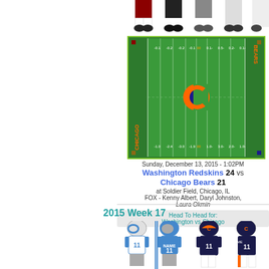[Figure (illustration): Top partial view of football player uniforms/legs (Washington Redskins and other team)]
[Figure (illustration): NFL football field with Chicago Bears logo, yard lines, and end zone markings showing CHICAGO and BEARS text]
Sunday, December 13, 2015 - 1:02PM
Washington Redskins 24 vs Chicago Bears 21
at Soldier Field, Chicago, IL
FOX - Kenny Albert, Daryl Johnston, Laura Okmin
Head To Head for: Washington vs Chicago
2015 Week 17
[Figure (illustration): Detroit Lions and Chicago Bears uniform illustrations showing home and away jerseys with helmets and player number 11]